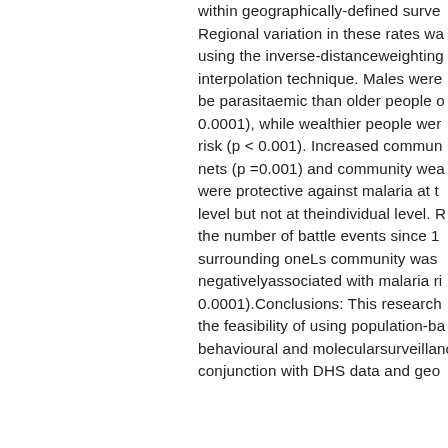within geographically-defined survey. Regional variation in these rates was using the inverse-distanceweighting interpolation technique. Males were be parasitaemic than older people and 0.0001), while wealthier people were risk (p < 0.001). Increased commun nets (p =0.001) and community wea were protective against malaria at t level but not at theindividual level. R the number of battle events since 1 surrounding oneLs community was negativelyassociated with malaria ri 0.0001).Conclusions: This research the feasibility of using population-ba behavioural and molecularsurveillance conjunction with DHS data and geo